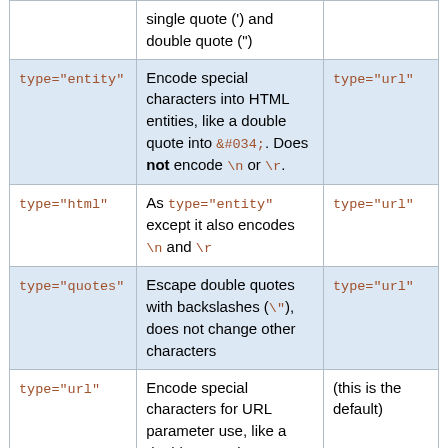| Type | Description | Default/Note |
| --- | --- | --- |
| type="entity" | Encode special characters into HTML entities, like a double quote into &#034;. Does not encode \n or \r. | type="url" |
| type="html" | As type="entity" except it also encodes \n and \r | type="url" |
| type="quotes" | Escape double quotes with backslashes (\"), does not change other characters | type="url" |
| type="url" | Encode special characters for URL parameter use, like a double quote into %22 | (this is the default) |
Example: %ENCODE{"spaced name"}% expands to